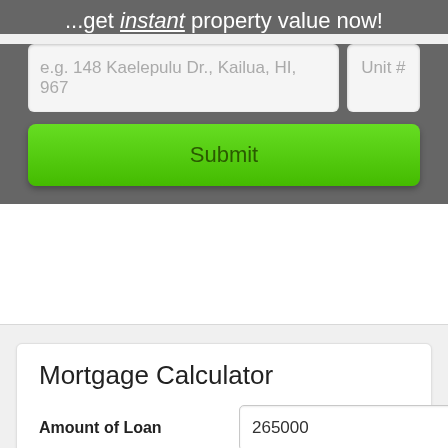...get instant property value now!
[Figure (screenshot): Address input field with placeholder 'e.g. 148 Kaelepulu Dr., Kailua, HI, 967' and a Unit # input field]
[Figure (screenshot): Green Submit button]
Mortgage Calculator
Amount of Loan: 265000
Annual Interest Rate: 6 %